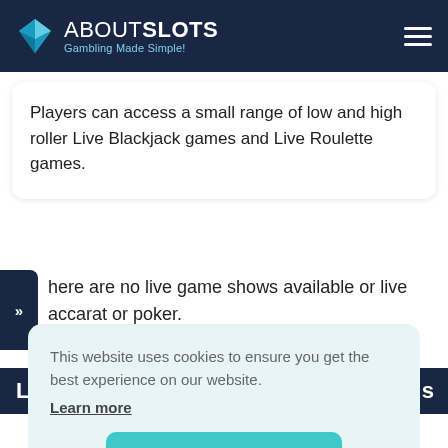ABOUTSLOTS — Gambling Made Simple!
Players can access a small range of low and high roller Live Blackjack games and Live Roulette games.
here are no live game shows available or live accarat or poker.
This website uses cookies to ensure you get the best experience on our website. Learn more
Got it!